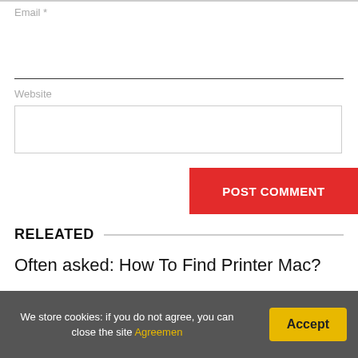Email *
Website
POST COMMENT
RELEATED
Often asked: How To Find Printer Mac?
Add the printer to your list of available printers: Choose Apple menu > System Preferences, then click Printers &
We store cookies: if you do not agree, you can close the site Agreemen